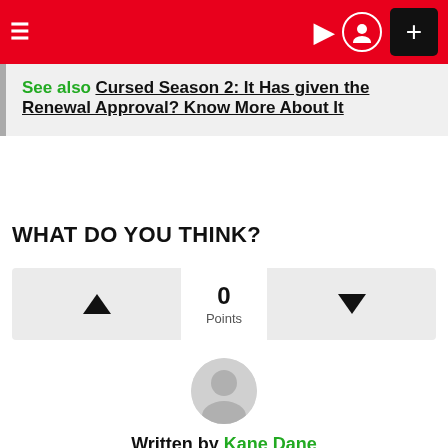≡  ☽ 👤 +
See also  Cursed Season 2: It Has given the Renewal Approval? Know More About It
WHAT DO YOU THINK?
[Figure (other): Vote buttons: upvote triangle on left, score '0 Points' in center, downvote triangle on right]
[Figure (other): Circular author avatar placeholder icon]
Written by Kane Dane